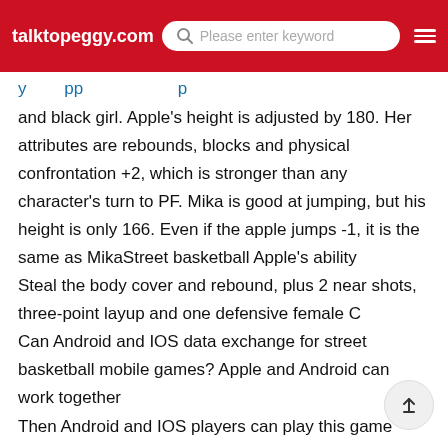talktopeggy.com | Please enter keyword
and black girl. Apple's height is adjusted by 180. Her attributes are rebounds, blocks and physical confrontation +2, which is stronger than any character's turn to PF. Mika is good at jumping, but his height is only 166. Even if the apple jumps -1, it is the same as MikaStreet basketball Apple's ability
Steal the body cover and rebound, plus 2 near shots, three-point layup and one defensive female C
Can Android and IOS data exchange for street basketball mobile games? Apple and Android can work together
Then Android and IOS players can play this game together. However, in most cases, you need to add friends to form a team together. The Jiuyou Xiaobian will continue to pay attention to the latest news about the exchange between Android and apple. You may as well pay more attention to the